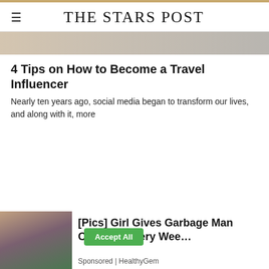THE STARS POST
[Figure (photo): Hero image placeholder — muted beige/grey strip at top of article]
4 Tips on How to Become a Travel Influencer
Nearly ten years ago, social media began to transform our lives, and along with it, more
We use cookies on our website to give you the most relevant experience by remembering your preferences and repeat visits. By clicking “Accept All”, you consent to the use of ALL the cookies. However, you may visit "Cookie Settings" to provide a controlled consent.
[Figure (photo): Ad thumbnail: smiling man with young girl, outdoor setting]
[Pics] Girl Gives Garbage Man Cupcake Every Wee…
Sponsored | HealthyGem